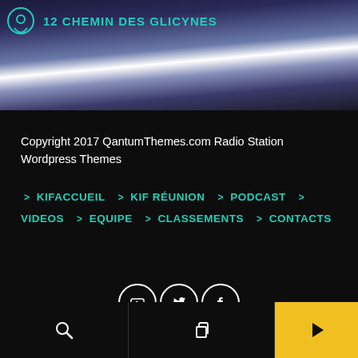[Figure (photo): Dark blue and white gradient blurred background banner image at top of page]
12 CHEMIN DES GLICYNES
Copyright 2017 QantumThemes.com Radio Station Wordpress Themes
> KIF ACCUEIL > KIF RÉUNION > PODCAST > VIDEOS > EQUIPE > CLASSEMENTS > CONTACTS
[Figure (infographic): Social media icons: YouTube, Twitter, Facebook — white circles with icons]
[Figure (infographic): Bottom navigation bar with search icon (left), copy/layers icon (center), play button on yellow background (right)]